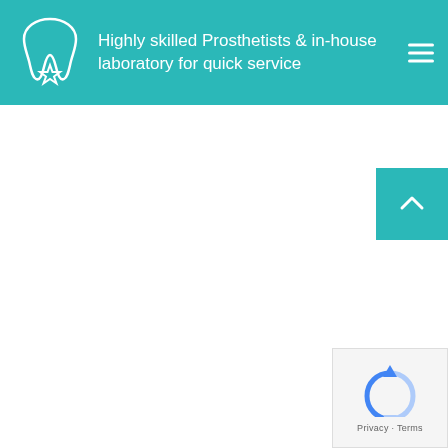Highly skilled Prosthetists & in-house laboratory for quick service
[Figure (logo): White tooth with star icon on teal background]
[Figure (other): Back to top arrow button (teal square with white up arrow)]
[Figure (other): Google reCAPTCHA badge with Privacy and Terms links]